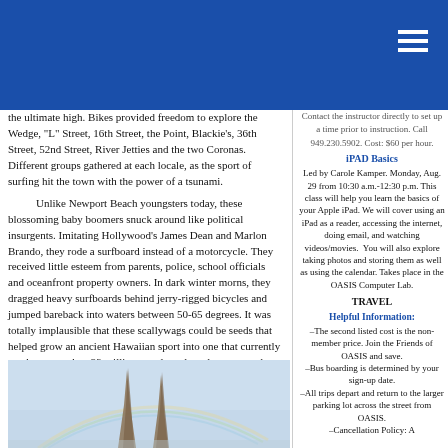the ultimate high. Bikes provided freedom to explore the Wedge, “L” Street, 16th Street, the Point, Blackie’s, 36th Street, 52nd Street, River Jetties and the two Coronas. Different groups gathered at each locale, as the sport of surfing hit the town with the power of a tsunami.
Unlike Newport Beach youngsters today, these blossoming baby boomers snuck around like political insurgents. Imitating Hollywood’s James Dean and Marlon Brando, they rode a surfboard instead of a motorcycle. They received little esteem from parents, police, school officials and oceanfront property owners. In dark winter morns, they dragged heavy surfboards behind jerry-rigged bicycles and jumped bareback into waters between 50-65 degrees. It was totally implausible that these scallywags could be seeds that helped grow an ancient Hawaiian sport into one that currently reaches more than 23 million people and produces more than $7.3 billion in annual income.
[Figure (photo): Two palm trees against a light sky with a faint rainbow]
Contact the instructor directly to set up a time prior to instruction. Call 949.230.5902. Cost: $60 per hour.
iPAD Basics
Led by Carole Kamper. Monday, Aug. 29 from 10:30 a.m.-12:30 p.m. This class will help you learn the basics of your Apple iPad. We will cover using an iPad as a reader, accessing the internet, doing email, and watching videos/movies. You will also explore taking photos and storing them as well as using the calendar. Takes place in the OASIS Computer Lab.
TRAVEL
Helpful Information:
–The second listed cost is the non-member price. Join the Friends of OASIS and save. –Bus boarding is determined by your sign-up date. –All trips depart and return to the larger parking lot across the street from OASIS. –Cancellation Policy: A